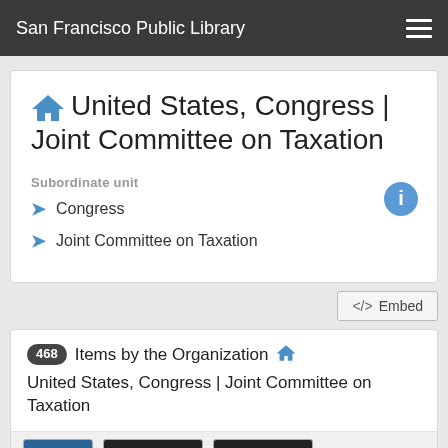San Francisco Public Library
United States, Congress | Joint Committee on Taxation
Subordinate unit
Congress
Joint Committee on Taxation
</> Embed
468 Items by the Organization  United States, Congress | Joint Committee on Taxation